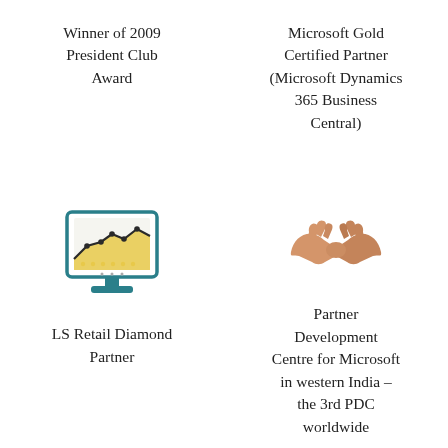Winner of 2009 President Club Award
Microsoft Gold Certified Partner (Microsoft Dynamics 365 Business Central)
[Figure (illustration): Icon of a desktop computer monitor displaying a chart with area graph and dots, with teal/dark border]
LS Retail Diamond Partner
[Figure (illustration): Icon of two hands shaking (handshake) in orange/peach tones]
Partner Development Centre for Microsoft in western India – the 3rd PDC worldwide